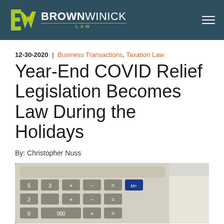BrownWinick Law
12-30-2020 | Business Transactions, Taxation Law
Year-End COVID Relief Legislation Becomes Law During the Holidays
By: Christopher Nuss
[Figure (photo): Close-up photo of a calculator keyboard with keys including numbers 0-5, 000, plus, minus, equals, and M+ buttons, with papers/documents visible in the background on a wooden surface.]